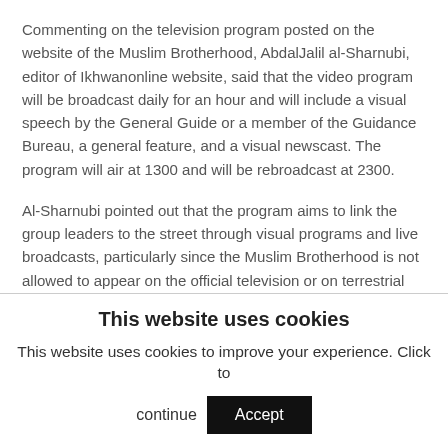Commenting on the television program posted on the website of the Muslim Brotherhood, AbdalJalil al-Sharnubi, editor of Ikhwanonline website, said that the video program will be broadcast daily for an hour and will include a visual speech by the General Guide or a member of the Guidance Bureau, a general feature, and a visual newscast. The program will air at 1300 and will be rebroadcast at 2300.
Al-Sharnubi pointed out that the program aims to link the group leaders to the street through visual programs and live broadcasts, particularly since the Muslim Brotherhood is not allowed to appear on the official television or on terrestrial channels.
This website uses cookies
This website uses cookies to improve your experience. Click to continue